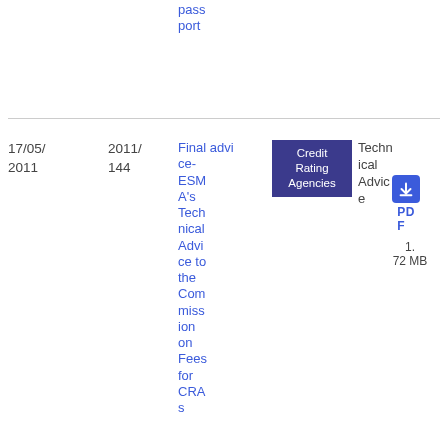pass
port
17/05/
2011
2011/
144
Final advice-ESMA's Technical Advice to the Commission on Fees for CRAs
Credit Rating Agencies
Technical Advice
PDF
1.72 MB